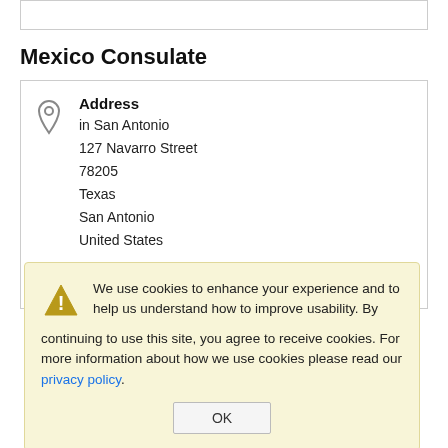Mexico Consulate
Address
in San Antonio
127 Navarro Street
78205
Texas
San Antonio
United States
Phone
We use cookies to enhance your experience and to help us understand how to improve usability. By continuing to use this site, you agree to receive cookies. For more information about how we use cookies please read our privacy policy.
OK
consulmexepa@elp.rr.com